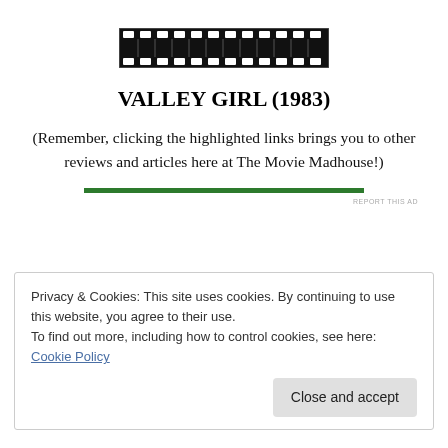[Figure (illustration): Film strip / movie reel strip graphic in black, showing sprocket holes along the top and bottom edges]
VALLEY GIRL (1983)
(Remember, clicking the highlighted links brings you to other reviews and articles here at The Movie Madhouse!)
REPORT THIS AD
Privacy & Cookies: This site uses cookies. By continuing to use this website, you agree to their use.
To find out more, including how to control cookies, see here: Cookie Policy
Close and accept